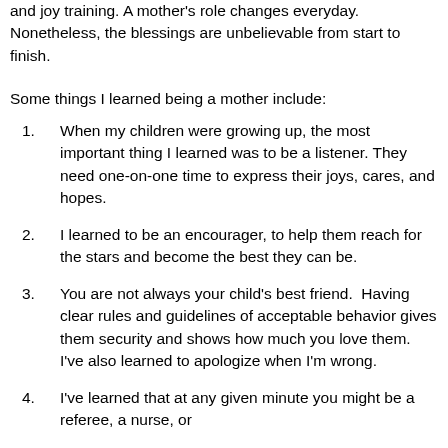and joy training. A mother's role changes everyday. Nonetheless, the blessings are unbelievable from start to finish.
Some things I learned being a mother include:
When my children were growing up, the most important thing I learned was to be a listener. They need one-on-one time to express their joys, cares, and hopes.
I learned to be an encourager, to help them reach for the stars and become the best they can be.
You are not always your child’s best friend.  Having clear rules and guidelines of acceptable behavior gives them security and shows how much you love them.  I’ve also learned to apologize when I’m wrong.
I’ve learned that at any given minute you might be a referee, a nurse, or